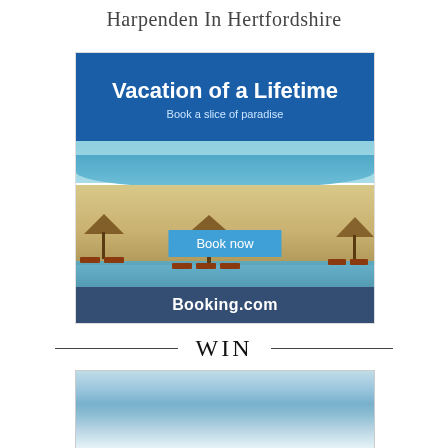Harpenden In Hertfordshire
[Figure (illustration): Booking.com advertisement banner showing a tropical beach scene with thatched umbrellas, beach chairs, blue sea and sky. Has blue header with 'Vacation of a Lifetime' title and 'Book a slice of paradise' subtitle, a 'Book now' button, and 'Booking.com' logo at bottom.]
WIN
[Figure (photo): Partial view of a serene seascape or beach scene with blue water and sky, cropped at the bottom of the page.]